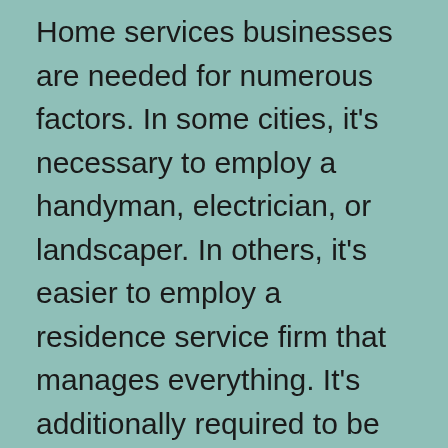Home services businesses are needed for numerous factors. In some cities, it's necessary to employ a handyman, electrician, or landscaper. In others, it's easier to employ a residence service firm that manages everything. It's additionally required to be able to manage emergencies without fear. This will make certain that your consumers are satisfied with the outcomes of your work. If you're a good client, you'll be well-paid.
Home solutions assist you maintain your home in good condition. If you need repair services, upkeep, or cleaning, these are simply some of